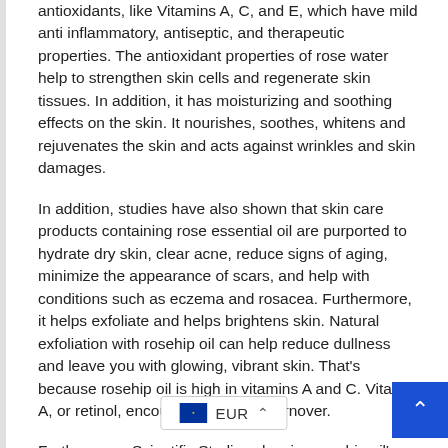antioxidants, like Vitamins A, C, and E, which have mild anti inflammatory, antiseptic, and therapeutic properties. The antioxidant properties of rose water help to strengthen skin cells and regenerate skin tissues. In addition, it has moisturizing and soothing effects on the skin. It nourishes, soothes, whitens and rejuvenates the skin and acts against wrinkles and skin damages.
In addition, studies have also shown that skin care products containing rose essential oil are purported to hydrate dry skin, clear acne, reduce signs of aging, minimize the appearance of scars, and help with conditions such as eczema and rosacea. Furthermore, it helps exfoliate and helps brightens skin. Natural exfoliation with rosehip oil can help reduce dullness and leave you with glowing, vibrant skin. That's because rosehip oil is high in vitamins A and C. Vitamin A, or retinol, encourages skin cell turnover.
Furthermore, Scientific Studies showing rosehip oil's promise make it an intriguing option for anyone looking to reduce the visible signs of aging, clear up scarring, or otherwise their skincare routine.